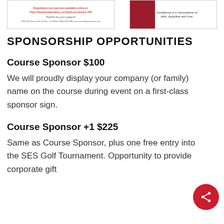[Figure (other): Top banner with two boxes: left box showing registration/payment URL and thanks text, right box with red image and text about excellence in atmosphere of faith, discipline and love.]
SPONSORSHIP OPPORTUNITIES
Course Sponsor $100
We will proudly display your company (or family) name on the course during event on a first-class sponsor sign.
Course Sponsor +1 $225
Same as Course Sponsor, plus one free entry into the SES Golf Tournament. Opportunity to provide corporate gift